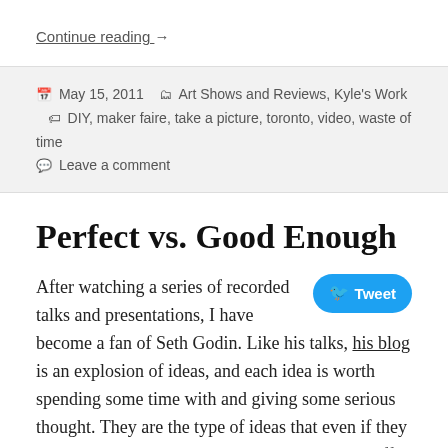Continue reading →
May 15, 2011   Art Shows and Reviews, Kyle's Work   DIY, maker faire, take a picture, toronto, video, waste of time   Leave a comment
Perfect vs. Good Enough
After watching a series of recorded talks and presentations, I have become a fan of Seth Godin. Like his talks, his blog is an explosion of ideas, and each idea is worth spending some time with and giving some serious thought. They are the type of ideas that even if they all turn out to be wrong, a person is still better off for having thought